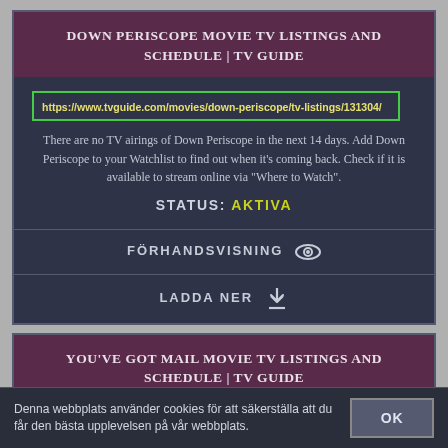DOWN PERISCOPE MOVIE TV LISTINGS AND SCHEDULE | TV GUIDE
https://www.tvguide.com/movies/down-periscope/tv-listings/131304/
There are no TV airings of Down Periscope in the next 14 days. Add Down Periscope to your Watchlist to find out when it's coming back. Check if it is available to stream online via "Where to Watch".
STATUS: AKTIVA
FÖRHANDSVISNING
LADDA NER
YOU'VE GOT MAIL MOVIE TV LISTINGS AND SCHEDULE | TV GUIDE
Denna webbplats använder cookies för att säkerställa att du får den bästa upplevelsen på vår webbplats.
OK